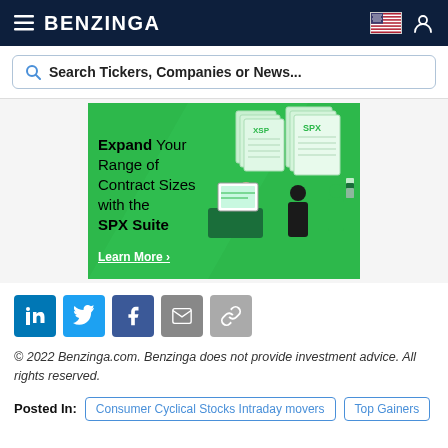BENZINGA
Search Tickers, Companies or News...
[Figure (illustration): Advertisement banner: green background showing illustrated figures working with financial charts. Text reads: Expand Your Range of Contract Sizes with the SPX Suite. Learn More >. Labels XSP and SPX visible on document icons.]
Social sharing buttons: LinkedIn, Twitter, Facebook, Email, Link
© 2022 Benzinga.com. Benzinga does not provide investment advice. All rights reserved.
Posted In: Consumer Cyclical Stocks Intraday movers | Top Gainers